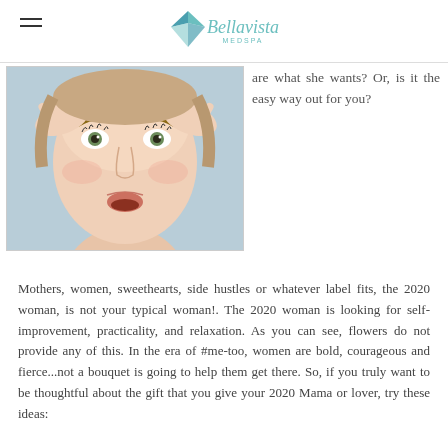Bellavista MEDSPA
[Figure (photo): Woman touching her face near her eyebrows with both hands, looking surprised, against a light blue background]
are what she wants? Or, is it the easy way out for you?
Mothers, women, sweethearts, side hustles or whatever label fits, the 2020 woman, is not your typical woman!. The 2020 woman is looking for self-improvement, practicality, and relaxation. As you can see, flowers do not provide any of this. In the era of #me-too, women are bold, courageous and fierce...not a bouquet is going to help them get there. So, if you truly want to be thoughtful about the gift that you give your 2020 Mama or lover, try these ideas:
A FACIAL PACKAGE